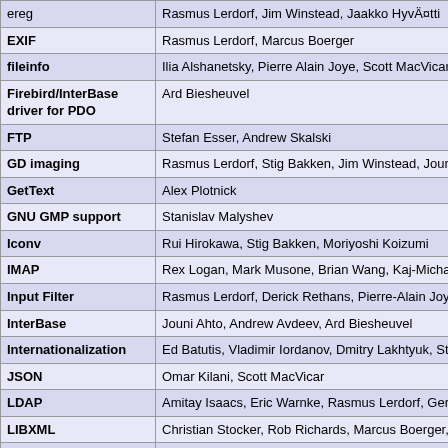| Extension/Module | Authors |
| --- | --- |
| ereg | Rasmus Lerdorf, Jim Winstead, Jaakko HyvÄ¤tti |
| EXIF | Rasmus Lerdorf, Marcus Boerger |
| fileinfo | Ilia Alshanetsky, Pierre Alain Joye, Scott MacVicar, De... |
| Firebird/InterBase driver for PDO | Ard Biesheuvel |
| FTP | Stefan Esser, Andrew Skalski |
| GD imaging | Rasmus Lerdorf, Stig Bakken, Jim Winstead, Jouni Ah... Alain Joye, Marcus Boerger |
| GetText | Alex Plotnick |
| GNU GMP support | Stanislav Malyshev |
| Iconv | Rui Hirokawa, Stig Bakken, Moriyoshi Koizumi |
| IMAP | Rex Logan, Mark Musone, Brian Wang, Kaj-Michael L... Rasmus Lerdorf, Andrew Skalski, Chuck Hagenbuch,... |
| Input Filter | Rasmus Lerdorf, Derick Rethans, Pierre-Alain Joye, Il... |
| InterBase | Jouni Ahto, Andrew Avdeev, Ard Biesheuvel |
| Internationalization | Ed Batutis, Vladimir Iordanov, Dmitry Lakhtyuk, Stanis... Savchuk, Kirti Velankar |
| JSON | Omar Kilani, Scott MacVicar |
| LDAP | Amitay Isaacs, Eric Warnke, Rasmus Lerdorf, Gerrit T... |
| LIBXML | Christian Stocker, Rob Richards, Marcus Boerger, We... |
| mcrypt | Sascha Schumann, Derick Rethans |
| MS SQL | Frank M. Kromann |
| Multibyte String | Tsukada Takuya, Rui Hirokawa |